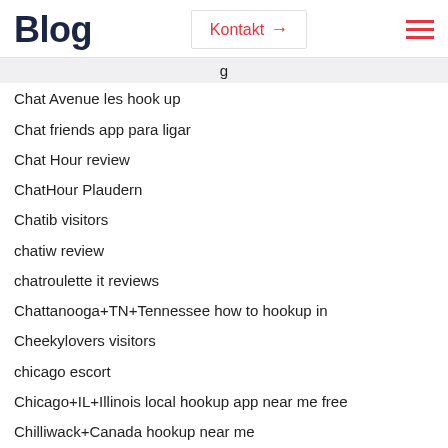Blog | Kontakt → ☰
Chat Avenue les hook up
Chat friends app para ligar
Chat Hour review
ChatHour Plaudern
Chatib visitors
chatiw review
chatroulette it reviews
Chattanooga+TN+Tennessee how to hookup in
Cheekylovers visitors
chicago escort
Chicago+IL+Illinois local hookup app near me free
Chilliwack+Canada hookup near me
chinalovecupid here
chinese dating
Chinese Dating Sites reviews